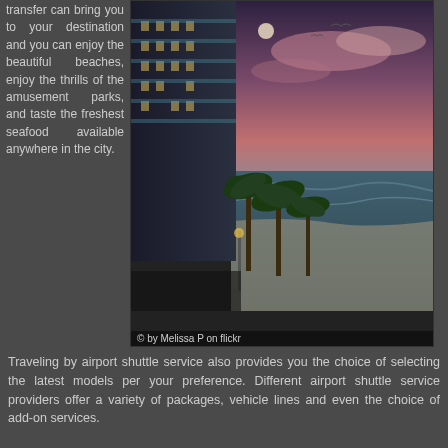transfer can bring you to your destination and you can enjoy the beautiful beaches, enjoy the thrills of the amusement parks, and taste the freshest seafood available anywhere in the city.
[Figure (photo): Coastal hotel and beach at dusk with palm trees, ocean view and colorful sky. Photo credit: © by Melissa P on flickr]
© by Melissa P on flickr
Traveling by airport shuttle service also provides you the choice of selecting the latest models per your preference. Different airport shuttle service providers offer a variety of packages, vehicle lines and even the choice of add-on services.
Some vehicles provide sufficient legroom for passengers and adequate air conditioning and heating systems for convenience. All you have to do is choose the right airport shuttle service for your airport transfer needs. Shuttle services provide unbeatable value for your money.